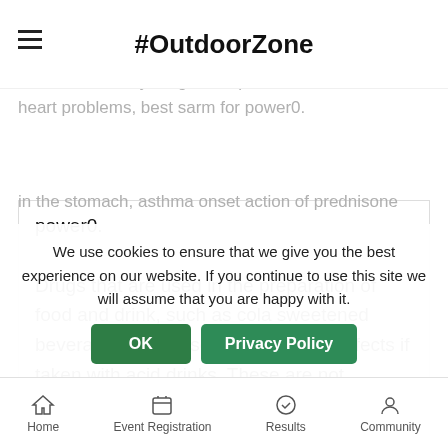#OutdoorZone
basis can have negative effects. Some doctors believe that taking certain medicines like antidepressants, anti-inflammatory drugs, and pain relievers can cause heart problems, best sarm for power0.
Drugs that are used in the preparation of food and drink, such as cola sweetened beverages, may also have negative effects if taken with acid drinks. These are not commonly prescribed for an acid stomach but they may affect someone as they work to manage their body's response to the acids
in the stomach, asthma onset action of prednisone
We use cookies to ensure that we give you the best experience on our website. If you continue to use this site we will assume that you are happy with it.
can cause disco...
Home  Event Registration  Results  Community